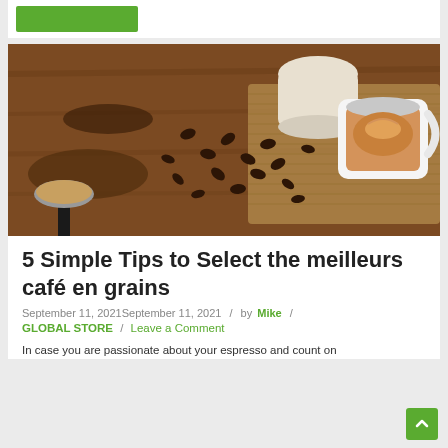[Figure (other): Green button/banner at top of page]
[Figure (photo): Coffee beans scattered on a wooden table with a portafilter, cloth bag, and a white cup of espresso on a woven mat]
5 Simple Tips to Select the meilleurs café en grains
September 11, 2021September 11, 2021  /  by Mike  /
GLOBAL STORE  /  Leave a Comment
In case you are passionate about your espresso and count on